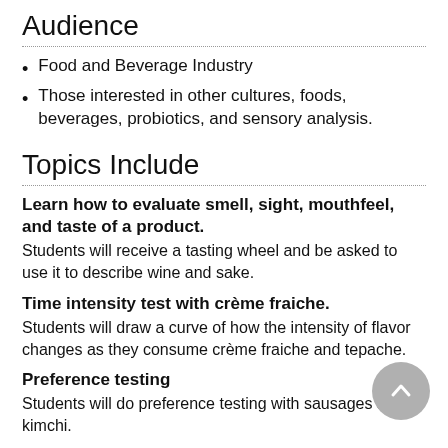Audience
Food and Beverage Industry
Those interested in other cultures, foods, beverages, probiotics, and sensory analysis.
Topics Include
Learn how to evaluate smell, sight, mouthfeel, and taste of a product.
Students will receive a tasting wheel and be asked to use it to describe wine and sake.
Time intensity test with crème fraiche.
Students will draw a curve of how the intensity of flavor changes as they consume crème fraiche and tepache.
Preference testing
Students will do preference testing with sausages and kimchi.